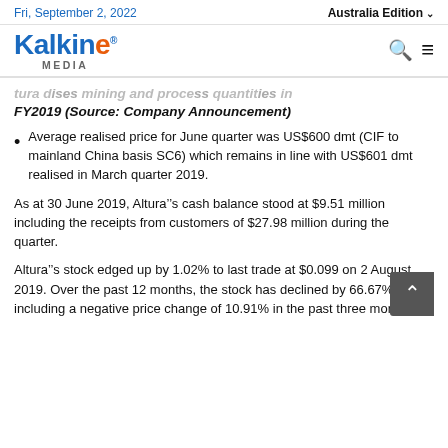Fri, September 2, 2022 | Australia Edition
[Figure (logo): Kalkine Media logo with orange stylized 'e' and blue text]
...tura dises mining and process quantities in FY2019 (Source: Company Announcement)
Average realised price for June quarter was US$600 dmt (CIF to mainland China basis SC6) which remains in line with US$601 dmt realised in March quarter 2019.
As at 30 June 2019, Altura’s cash balance stood at $9.51 million including the receipts from customers of $27.98 million during the quarter.
Altura’s stock edged up by 1.02% to last trade at $0.099 on 2 August 2019. Over the past 12 months, the stock has declined by 66.67% including a negative price change of 10.91% in the past three months.